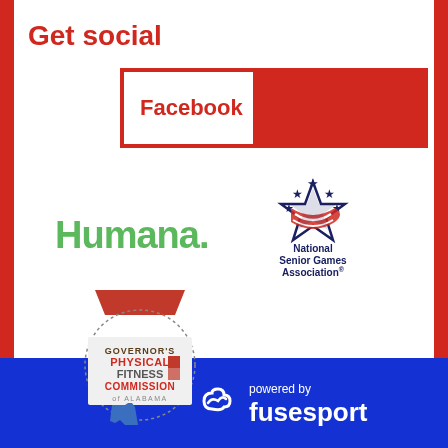Get social
[Figure (other): Facebook button with red border, text 'Facebook' on left white half and solid red block on right half]
[Figure (logo): Humana logo in green text with period]
[Figure (logo): National Senior Games Association logo with star and flag emblem]
[Figure (logo): Governor's Physical Fitness Commission of Alabama logo with state shape]
[Figure (logo): Powered by Fusesport logo in white on blue footer]